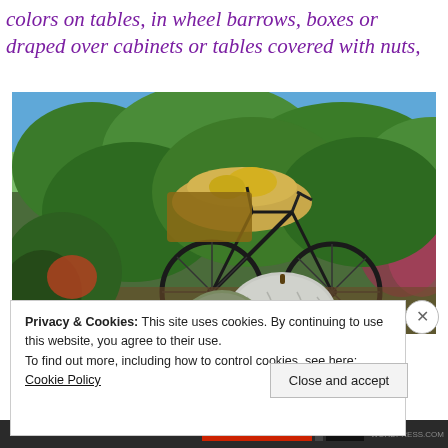colors on tables, in wheel barrows, boxes or draped over cabinets or tables covered with nuts,
[Figure (photo): Outdoor scene showing a vintage bicycle leaned against dense green shrubs and hedges, with large pumpkins (white and grey-green) on the ground in front, and hay/straw in the bicycle basket. Blue sky visible in background.]
Privacy & Cookies: This site uses cookies. By continuing to use this website, you agree to their use. To find out more, including how to control cookies, see here: Cookie Policy
Close and accept